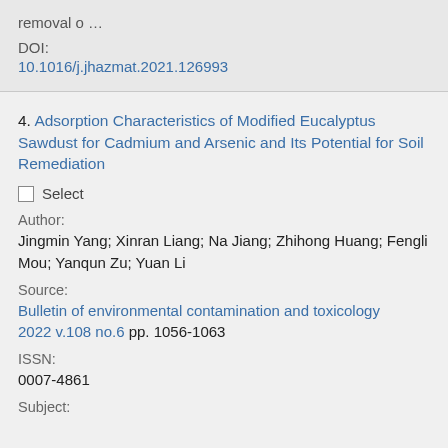removal o …
DOI:
10.1016/j.jhazmat.2021.126993
4. Adsorption Characteristics of Modified Eucalyptus Sawdust for Cadmium and Arsenic and Its Potential for Soil Remediation
Select
Author:
Jingmin Yang; Xinran Liang; Na Jiang; Zhihong Huang; Fengli Mou; Yanqun Zu; Yuan Li
Source:
Bulletin of environmental contamination and toxicology 2022 v.108 no.6 pp. 1056-1063
ISSN:
0007-4861
Subject: